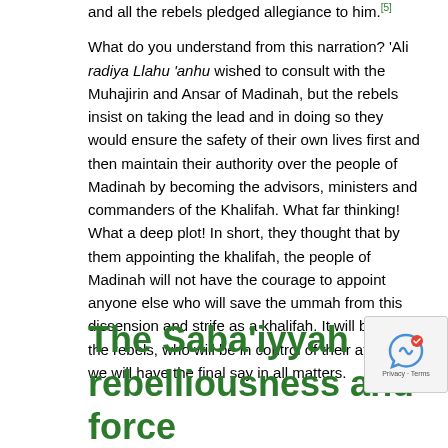and all the rebels pledged allegiance to him.[5] What do you understand from this narration? 'Ali radiya Llahu 'anhu wished to consult with the Muhajirin and Ansar of Madinah, but the rebels insist on taking the lead and in doing so they would ensure the safety of their own lives first and then maintain their authority over the people of Madinah by becoming the advisors, ministers and commanders of the Khalifah. What far thinking! What a deep plot! In short, they thought that by them appointing the khalifah, the people of Madinah will not have the courage to appoint anyone else who will save the ummah from this dissension and strife as a khalifah. It will be us, i.e. the rebels, who will be in control of their affairs and we will have the final say in all matters.
The Saba'iyyah rebelliousness and force